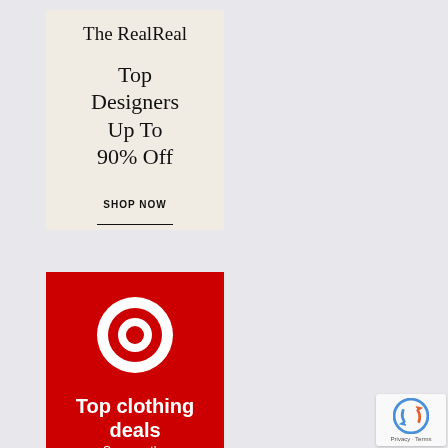[Figure (advertisement): The RealReal advertisement banner: cream/beige background with serif brand name 'The RealReal' at top, large serif text 'Top Designers Up To 90% Off', and bold 'SHOP NOW' call-to-action with underline.]
[Figure (advertisement): Target advertisement banner: red background with white Target bullseye logo, bold white text 'Top clothing deals', and smaller white text 'Save on the']